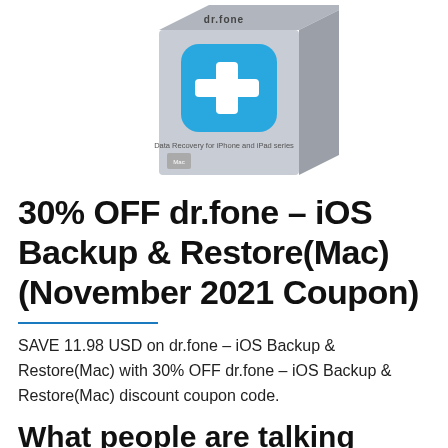[Figure (photo): Product box image for dr.fone iOS Backup & Restore (Mac) software — a 3D box with a blue rounded-square icon featuring a white plus sign, silver/gray box sides, with text 'Data Recovery for iPhone and iPad' on the box]
30% OFF dr.fone – iOS Backup & Restore(Mac) (November 2021 Coupon)
SAVE 11.98 USD on dr.fone – iOS Backup & Restore(Mac) with 30% OFF dr.fone – iOS Backup & Restore(Mac) discount coupon code.
What people are talking about